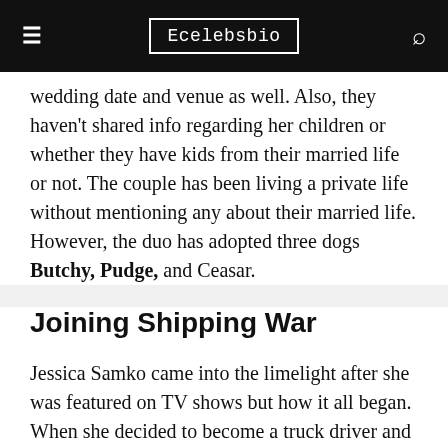Ecelebsbio
wedding date and venue as well. Also, they haven't shared info regarding her children or whether they have kids from their married life or not. The couple has been living a private life without mentioning any about their married life. However, the duo has adopted three dogs Butchy, Pudge, and Ceasar.
Joining Shipping War
Jessica Samko came into the limelight after she was featured on TV shows but how it all began. When she decided to become a truck driver and lease her truck from Landstar, a company that delivered products across North America. Then she became a...